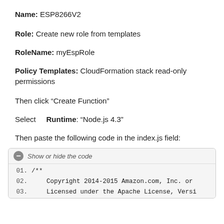Name: ESP8266V2
Role: Create new role from templates
RoleName: myEspRole
Policy Templates: CloudFormation stack read-only permissions
Then click “Create Function”
Select    Runtime: “Node.js 4.3”
Then paste the following code in the index.js field:
[Figure (screenshot): Code block with toggle button labeled 'Show or hide the code', showing lines 01. /**, 02.     Copyright 2014-2015 Amazon.com, Inc. or, 03.     Licensed under the Apache License, Versi]